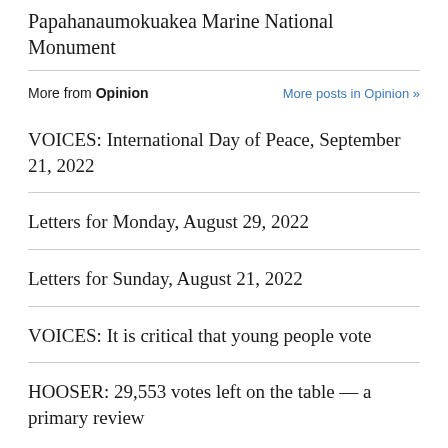Papahanaumokuakea Marine National Monument
More from Opinion   More posts in Opinion »
VOICES: International Day of Peace, September 21, 2022
Letters for Monday, August 29, 2022
Letters for Sunday, August 21, 2022
VOICES: It is critical that young people vote
HOOSER: 29,553 votes left on the table — a primary review